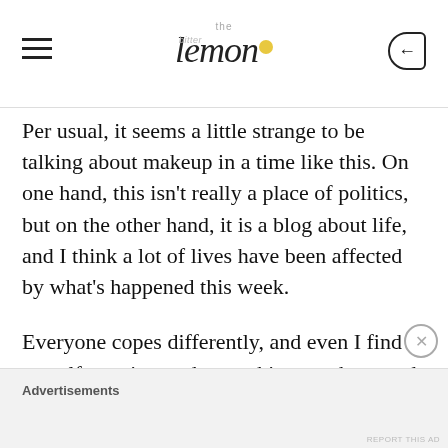the bitter lemon
Per usual, it seems a little strange to be talking about makeup in a time like this. On one hand, this isn't really a place of politics, but on the other hand, it is a blog about life, and I think a lot of lives have been affected by what's happened this week.
Everyone copes differently, and even I find myself wanting to do one thing one hour and something different the next. So, if one of your
Advertisements